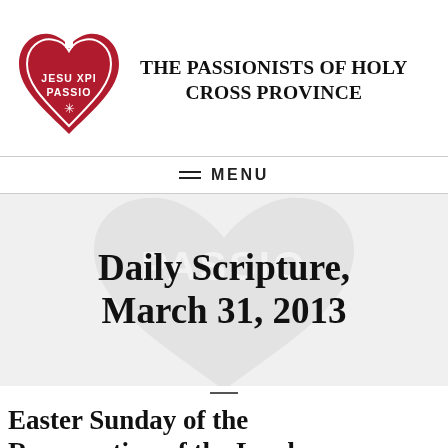[Figure (logo): Passionists logo: red heart-shaped emblem with a white cross on top and text JESU XPI PASSIO with a snowflake/asterisk symbol below]
THE PASSIONISTS OF HOLY CROSS PROVINCE
≡ MENU
Daily Scripture, March 31, 2013
Easter Sunday of the Resurrection of the Lord